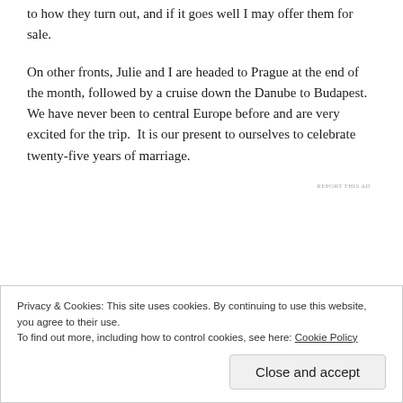to how they turn out, and if it goes well I may offer them for sale.
On other fronts, Julie and I are headed to Prague at the end of the month, followed by a cruise down the Danube to Budapest.  We have never been to central Europe before and are very excited for the trip.  It is our present to ourselves to celebrate  twenty-five years of marriage.
REPORT THIS AD
Privacy & Cookies: This site uses cookies. By continuing to use this website, you agree to their use.
To find out more, including how to control cookies, see here: Cookie Policy
Close and accept